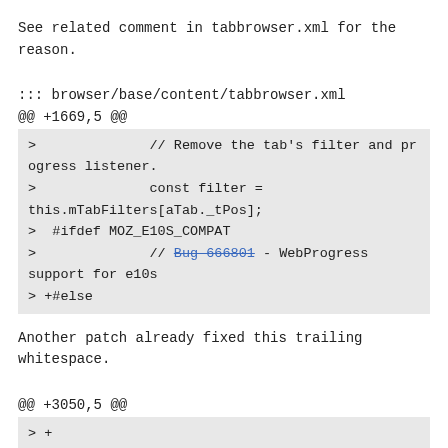See related comment in tabbrowser.xml for the reason.
::: browser/base/content/tabbrowser.xml
@@ +1669,5 @@
>              // Remove the tab's filter and progress listener.
>              const filter =
this.mTabFilters[aTab._tPos];
>  #ifdef MOZ_E10S_COMPAT
>              // Bug 666801 - WebProgress support for e10s
> +#else
Another patch already fixed this trailing whitespace.
@@ +3050,5 @@
> +